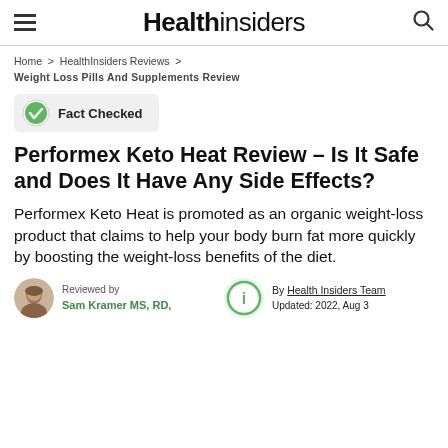Health insiders
Home > HealthInsiders Reviews > Weight Loss Pills And Supplements Review
[Figure (infographic): Fact Checked badge with green checkmark icon]
Performex Keto Heat Review – Is It Safe and Does It Have Any Side Effects?
Performex Keto Heat is promoted as an organic weight-loss product that claims to help your body burn fat more quickly by boosting the weight-loss benefits of the diet.
Reviewed by Sam Kramer MS, RD, | By Health Insiders Team Updated: 2022, Aug 3